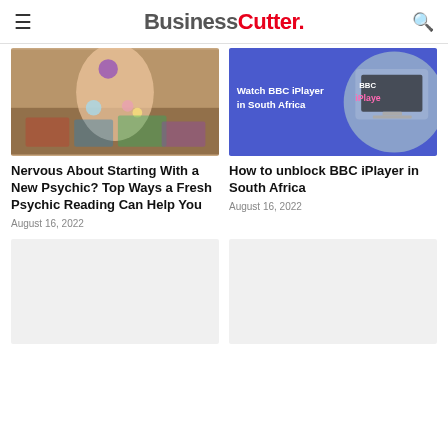BusinessCutter.
[Figure (photo): Hand with crystals and tarot cards on a table - psychic reading themed image]
[Figure (screenshot): BBC iPlayer logo on blue background with text 'Watch BBC iPlayer in South Africa']
Nervous About Starting With a New Psychic? Top Ways a Fresh Psychic Reading Can Help You
August 16, 2022
How to unblock BBC iPlayer in South Africa
August 16, 2022
[Figure (photo): Placeholder image - light gray rectangle]
[Figure (photo): Placeholder image - light gray rectangle]